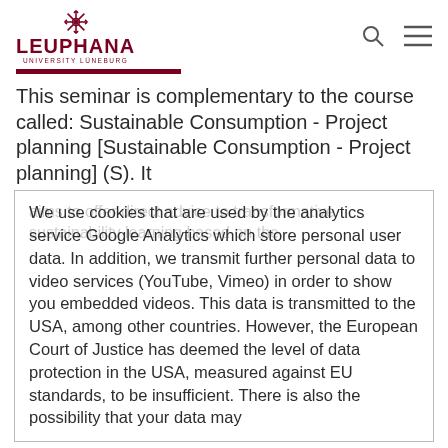LEUPHANA UNIVERSITY LÜNEBURG
This seminar is complementary to the course called: Sustainable Consumption - Project planning [Sustainable Consumption - Project planning] (S). It
We use cookies that are used by the analytics service Google Analytics which store personal user data. In addition, we transmit further personal data to video services (YouTube, Vimeo) in order to show you embedded videos. This data is transmitted to the USA, among other countries. However, the European Court of Justice has deemed the level of data protection in the USA, measured against EU standards, to be insufficient. There is also the possibility that your data may
Cookie settings
I agree
Allow only necessary cookies